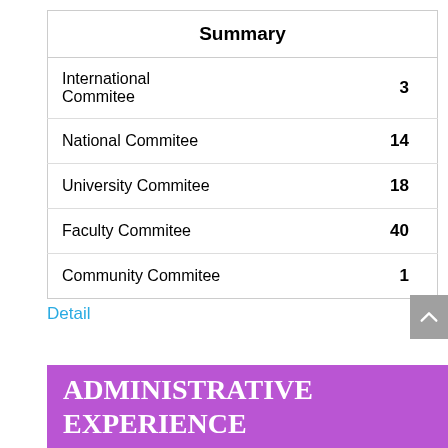| Summary |  |
| --- | --- |
| International Commitee | 3 |
| National Commitee | 14 |
| University Commitee | 18 |
| Faculty Commitee | 40 |
| Community Commitee | 1 |
Detail
ADMINISTRATIVE EXPERIENCE